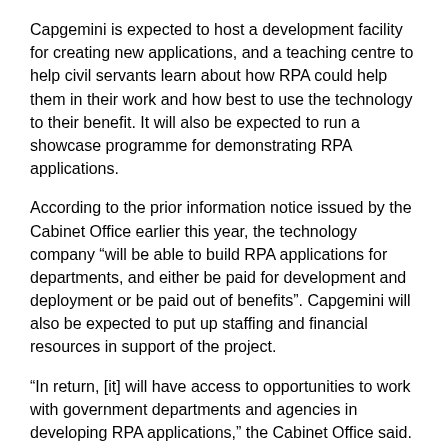Capgemini is expected to host a development facility for creating new applications, and a teaching centre to help civil servants learn about how RPA could help them in their work and how best to use the technology to their benefit. It will also be expected to run a showcase programme for demonstrating RPA applications.
According to the prior information notice issued by the Cabinet Office earlier this year, the technology company “will be able to build RPA applications for departments, and either be paid for development and deployment or be paid out of benefits”. Capgemini will also be expected to put up staffing and financial resources in support of the project.
“In return, [it] will have access to opportunities to work with government departments and agencies in developing RPA applications,” the Cabinet Office said. “[It will] be rewarded by earning fees for this work, which may be based on the savings achieved by the hosting department.”
About the author
Sam Trendall is editor of PublicTechnology
Tags